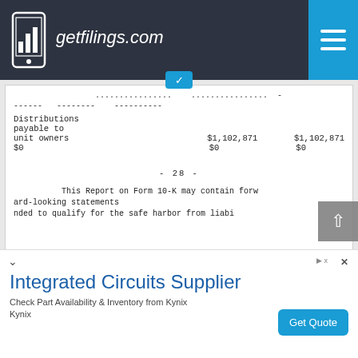getfilings.com
------ -------- ----------
Distributions
payable to
unit owners     $1,102,871      $1,102,871
$0          $0             $0
- 28 -
This Report on Form 10-K may contain forw
ard-looking statements
nded to qualify for the safe harbor from liabi